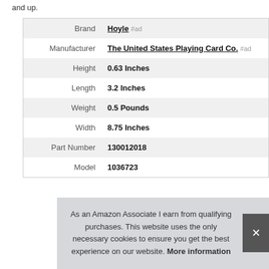and up.
| Brand | Hoyle #ad |
| Manufacturer | The United States Playing Card Co. #ad |
| Height | 0.63 Inches |
| Length | 3.2 Inches |
| Weight | 0.5 Pounds |
| Width | 8.75 Inches |
| Part Number | 130012018 |
| Model | 1036723 |
As an Amazon Associate I earn from qualifying purchases. This website uses the only necessary cookies to ensure you get the best experience on our website. More information